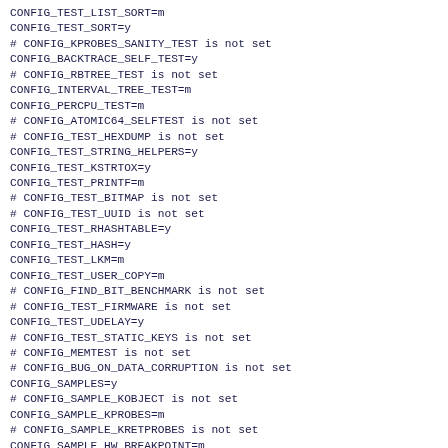CONFIG_TEST_LIST_SORT=m
CONFIG_TEST_SORT=y
# CONFIG_KPROBES_SANITY_TEST is not set
CONFIG_BACKTRACE_SELF_TEST=y
# CONFIG_RBTREE_TEST is not set
CONFIG_INTERVAL_TREE_TEST=m
CONFIG_PERCPU_TEST=m
# CONFIG_ATOMIC64_SELFTEST is not set
# CONFIG_TEST_HEXDUMP is not set
CONFIG_TEST_STRING_HELPERS=y
CONFIG_TEST_KSTRTOX=y
CONFIG_TEST_PRINTF=m
# CONFIG_TEST_BITMAP is not set
# CONFIG_TEST_UUID is not set
CONFIG_TEST_RHASHTABLE=y
CONFIG_TEST_HASH=y
CONFIG_TEST_LKM=m
CONFIG_TEST_USER_COPY=m
# CONFIG_FIND_BIT_BENCHMARK is not set
# CONFIG_TEST_FIRMWARE is not set
CONFIG_TEST_UDELAY=y
# CONFIG_TEST_STATIC_KEYS is not set
# CONFIG_MEMTEST is not set
# CONFIG_BUG_ON_DATA_CORRUPTION is not set
CONFIG_SAMPLES=y
# CONFIG_SAMPLE_KOBJECT is not set
CONFIG_SAMPLE_KPROBES=m
# CONFIG_SAMPLE_KRETPROBES is not set
CONFIG_SAMPLE_HW_BREAKPOINT=m
CONFIG_SAMPLE_KFIFO=m
CONFIG_SAMPLE_PPRO_CLIENT=